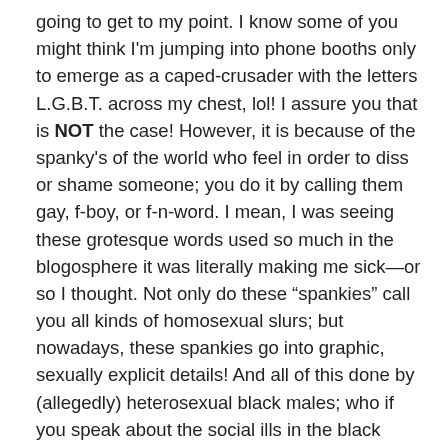going to get to my point. I know some of you might think I'm jumping into phone booths only to emerge as a caped-crusader with the letters L.G.B.T. across my chest, lol! I assure you that is NOT the case! However, it is because of the spanky's of the world who feel in order to diss or shame someone; you do it by calling them gay, f-boy, or f-n-word. I mean, I was seeing these grotesque words used so much in the blogosphere it was literally making me sick—or so I thought. Not only do these “spankies” call you all kinds of homosexual slurs; but nowadays, these spankies go into graphic, sexually explicit details! And all of this done by (allegedly) heterosexual black males; who if you speak about the social ills in the black community; whether it be rap music, black crime, ghetto culture anything that brings shame towards black folk; you’re a faggot. Also, before I move on, I would be remissed if I didn’t mention